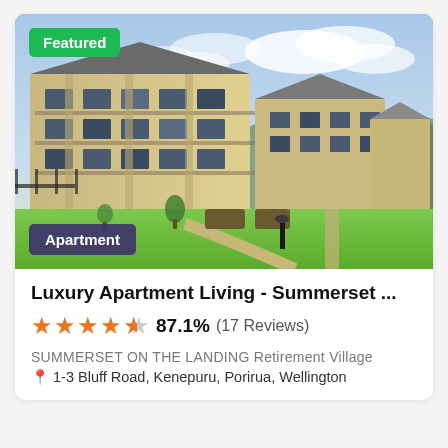[Figure (photo): Exterior photo of Summerset on the Landing apartment complex, a modern multi-storey residential building with balconies, green lawns, garden paths, and hills in the background under a partly cloudy sky. Green 'Featured' badge top-left, purple 'Apartment' badge bottom-left.]
Luxury Apartment Living - Summerset ...
★★★★½ 87.1% (17 Reviews)
SUMMERSET ON THE LANDING Retirement Village
📍 1-3 Bluff Road, Kenepuru, Porirua, Wellington